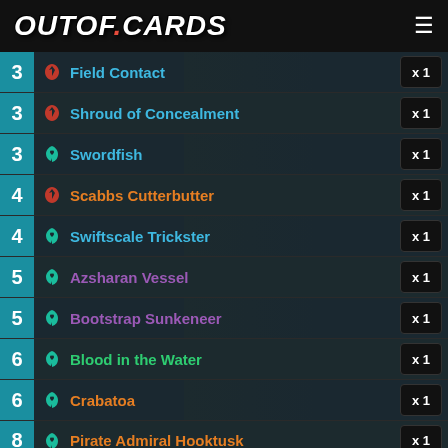OUTOF.CARDS
3  Field Contact  x1
3  Shroud of Concealment  x1
3  Swordfish  x1
4  Scabbs Cutterbutter  x1
4  Swiftscale Trickster  x1
5  Azsharan Vessel  x1
5  Bootstrap Sunkeneer  x1
6  Blood in the Water  x1
6  Crabatoa  x1
8  Pirate Admiral Hooktusk  x1